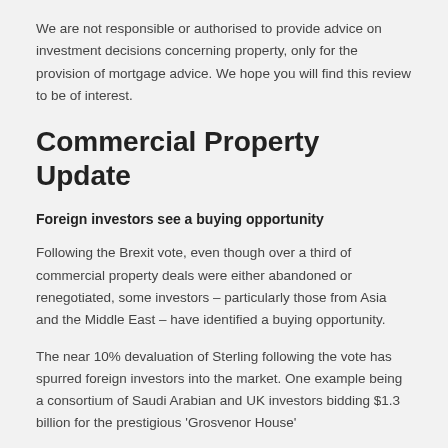We are not responsible or authorised to provide advice on investment decisions concerning property, only for the provision of mortgage advice. We hope you will find this review to be of interest.
Commercial Property Update
Foreign investors see a buying opportunity
Following the Brexit vote, even though over a third of commercial property deals were either abandoned or renegotiated, some investors – particularly those from Asia and the Middle East – have identified a buying opportunity.
The near 10% devaluation of Sterling following the vote has spurred foreign investors into the market. One example being a consortium of Saudi Arabian and UK investors bidding $1.3 billion for the prestigious 'Grosvenor House'